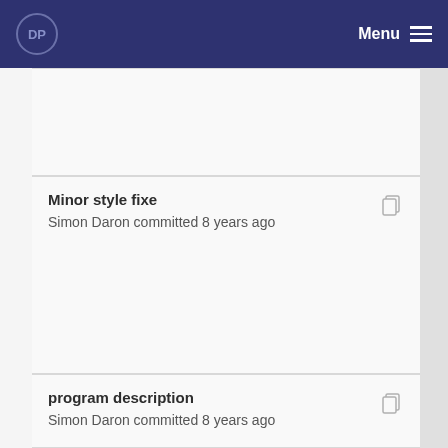DP | Menu
Minor style fixe
Simon Daron committed 8 years ago
program description
Simon Daron committed 8 years ago